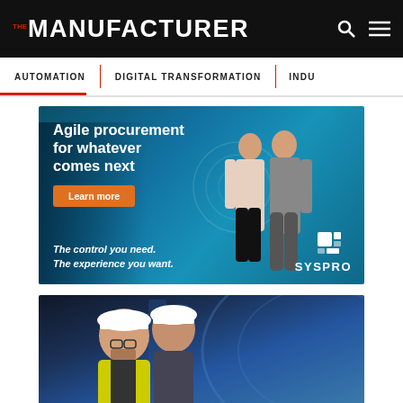THE MANUFACTURER
AUTOMATION | DIGITAL TRANSFORMATION | INDU...
[Figure (infographic): SYSPRO advertisement: 'Agile procurement for whatever comes next' with Learn more button and two business professionals in a factory setting. Tagline: The control you need. The experience you want. SYSPRO logo bottom right.]
[Figure (photo): Two workers wearing white hard hats in an industrial facility, one with glasses and a yellow high-visibility vest, viewed from above/side.]